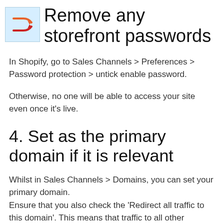[Figure (logo): Small icon with orange and red shuffle arrows on a light blue background]
Remove any storefront passwords
In Shopify, go to Sales Channels > Preferences > Password protection > untick enable password.
Otherwise, no one will be able to access your site even once it's live.
4. Set as the primary domain if it is relevant
Whilst in Sales Channels > Domains, you can set your primary domain.
Ensure that you also check the 'Redirect all traffic to this domain'. This means that traffic to all other domains will be directed to your primary domain.